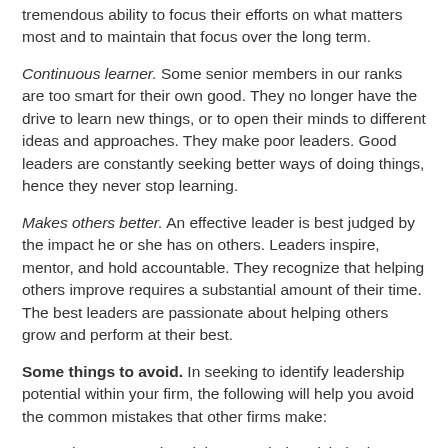tremendous ability to focus their efforts on what matters most and to maintain that focus over the long term.
Continuous learner. Some senior members in our ranks are too smart for their own good. They no longer have the drive to learn new things, or to open their minds to different ideas and approaches. They make poor leaders. Good leaders are constantly seeking better ways of doing things, hence they never stop learning.
Makes others better. An effective leader is best judged by the impact he or she has on others. Leaders inspire, mentor, and hold accountable. They recognize that helping others improve requires a substantial amount of their time. The best leaders are passionate about helping others grow and perform at their best.
Some things to avoid. In seeking to identify leadership potential within your firm, the following will help you avoid the common mistakes that other firms make:
Don't place too much weight on seniority. Pick the best people regardless of age, seniority, or technical credentials